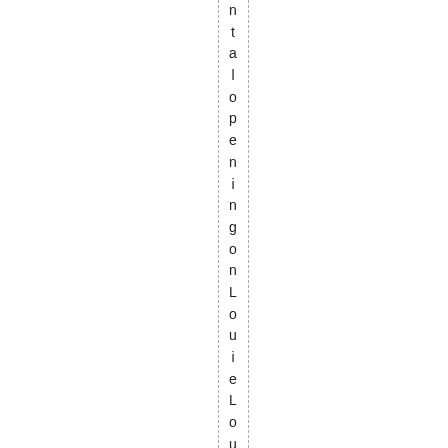ntalopening on Louie Louie 445 is by